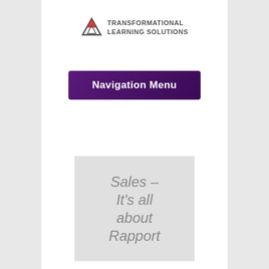[Figure (logo): Transformational Learning Solutions logo with triangle icon and text]
Navigation Menu
Sales – It's all about Rapport